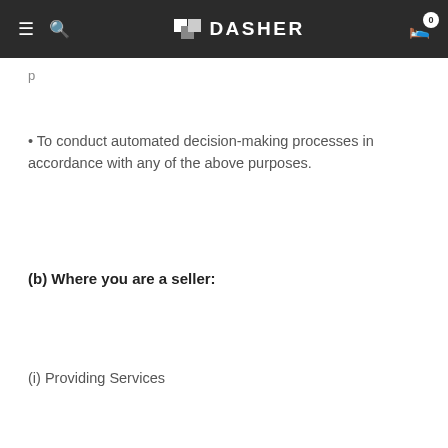DASHER
• To conduct automated decision-making processes in accordance with any of the above purposes.
(b) Where you are a seller:
(i) Providing Services